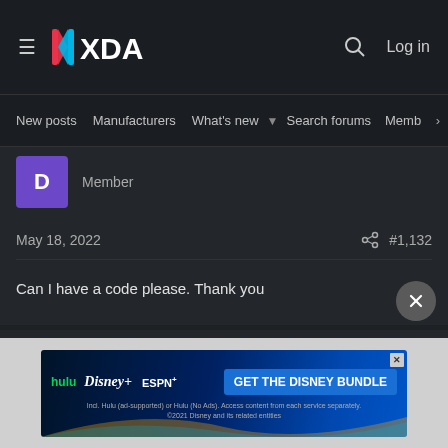XDA Developers — Log in
New posts  Manufacturers  What's new  Search forums  Members  >
Member
May 18, 2022   #1,132
Can I have a code please. Thank you
[Figure (screenshot): Disney Bundle advertisement banner: Hulu, Disney+, ESPN+ logos with 'GET THE DISNEY BUNDLE' call to action button]